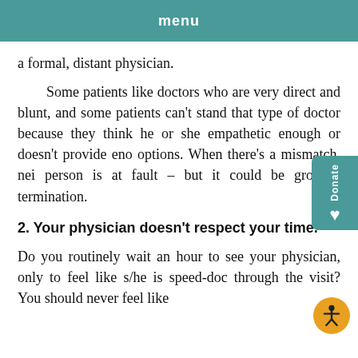menu
a formal, distant physician.
Some patients like doctors who are very direct and blunt, and some patients can't stand that type of doctor because they think he or she empathetic enough or doesn't provide eno options. When there's a mismatch, nei person is at fault – but it could be grounds termination.
2. Your physician doesn't respect your time.
Do you routinely wait an hour to see your physician, only to feel like s/he is speed-doc through the visit? You should never feel like